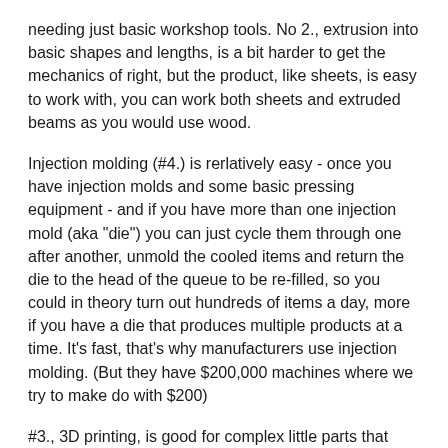needing just basic workshop tools. No 2., extrusion into basic shapes and lengths, is a bit harder to get the mechanics of right, but the product, like sheets, is easy to work with, you can work both sheets and extruded beams as you would use wood.
Injection molding (#4.) is rerlatively easy - once you have injection molds and some basic pressing equipment - and if you have more than one injection mold (aka "die") you can just cycle them through one after another, unmold the cooled items and return the die to the head of the queue to be re-filled, so you could in theory turn out hundreds of items a day, more if you have a die that produces multiple products at a time. It's fast, that's why manufacturers use injection molding. (But they have $200,000 machines where we try to make do with $200)
#3., 3D printing, is good for complex little parts that don't need a huge amoutn of strength, and is slow. A part that is injection-molded in under 4 minutes from end to end takes several hours to print layer by layer. There are some large scale 3D printers out there (one prints electric cargo bike bodies) but they're problematic and there are some quite difficult to solve